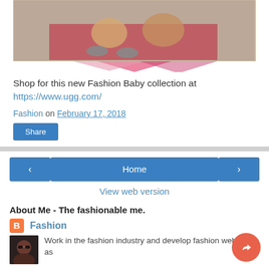[Figure (photo): Photo of babies/toddlers sitting on a colorful rug or blanket, with fashion accessories and pink decorative elements below]
Shop for this new Fashion Baby collection at https://www.ugg.com/
Fashion on February 17, 2018
Share
Home
View web version
About Me - The fashionable me.
Fashion
Work in the fashion industry and develop fashion websites as